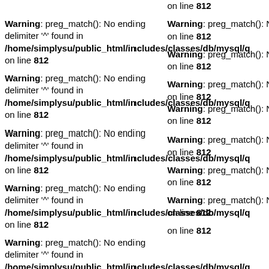on line 812
Warning: preg_match(): No ending delimiter '^' found in /home/simplysu/public_html/includes/classes/db/mysql/q on line 812
Warning: preg_match(): No er on line 812
Warning: preg_match(): No ending delimiter '^' found in /home/simplysu/public_html/includes/classes/db/mysql/q on line 812
Warning: preg_match(): No er on line 812
Warning: preg_match(): No er on line 812
Warning: preg_match(): No ending delimiter '^' found in /home/simplysu/public_html/includes/classes/db/mysql/q on line 812
Warning: preg_match(): No er on line 812
Warning: preg_match(): No er on line 812
Warning: preg_match(): No ending delimiter '^' found in /home/simplysu/public_html/includes/classes/db/mysql/q on line 812
Warning: preg_match(): No er on line 812
Warning: preg_match(): No er on line 812
Warning: preg_match(): No ending delimiter '^' found in /home/simplysu/public_html/includes/classes/db/mysql/q on line 812
Warning: preg_match(): No er on line 812
Warning: preg_match(): No er on line 812
on line 812